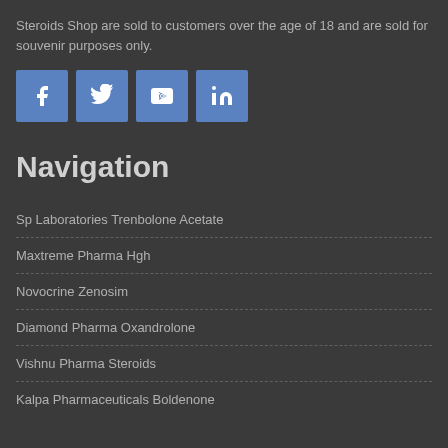Steroids Shop are sold to customers over the age of 18 and are sold for souvenir purposes only.
[Figure (infographic): Four social media icon buttons: Facebook, Twitter, YouTube, LinkedIn — blue square buttons with white icons]
Navigation
Sp Laboratories Trenbolone Acetate
Maxtreme Pharma Hgh
Novocrine Zenosim
Diamond Pharma Oxandrolone
Vishnu Pharma Steroids
Kalpa Pharmaceuticals Boldenone